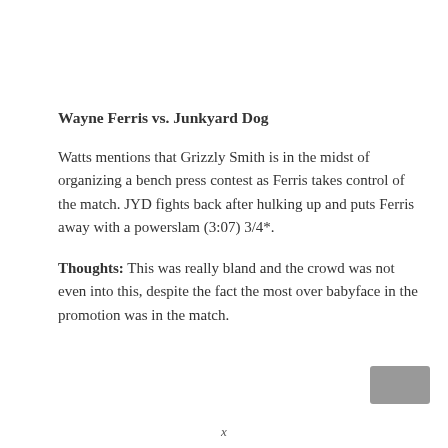Wayne Ferris vs. Junkyard Dog
Watts mentions that Grizzly Smith is in the midst of organizing a bench press contest as Ferris takes control of the match. JYD fights back after hulking up and puts Ferris away with a powerslam (3:07) 3/4*.
Thoughts: This was really bland and the crowd was not even into this, despite the fact the most over babyface in the promotion was in the match.
x